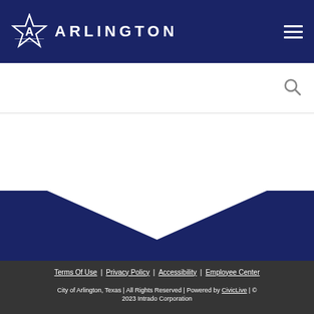Arlington city government website header with logo and hamburger menu
[Figure (logo): City of Arlington Texas star logo with text ARLINGTON]
Search bar input field
[Figure (illustration): White chevron/wedge shape against dark navy background]
Terms Of Use | Privacy Policy | Accessibility | Employee Center
City of Arlington, Texas | All Rights Reserved | Powered by CivicLive | © 2023 Intrado Corporation